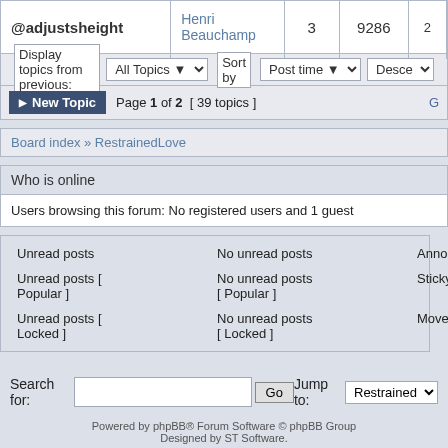| Username | Author | Replies | Views | Extra |
| --- | --- | --- | --- | --- |
| @adjustsheight | Henri Beauchamp | 3 | 9286 | 2… |
Display topics from previous: All Topics ▼  Sort by  Post time ▼  Desce…
▶ New Topic  Page 1 of 2  [ 39 topics ]  G…
Board index » RestrainedLove
Who is online
Users browsing this forum: No registered users and 1 guest
| Unread posts | No unread posts | Announcement |
| Unread posts [ Popular ] | No unread posts [ Popular ] | Sticky |
| Unread posts [ Locked ] | No unread posts [ Locked ] | Moved topic |
Search for:  [input]  Go   Jump to: Restrained…
Powered by phpBB® Forum Software © phpBB Group
Designed by ST Software.